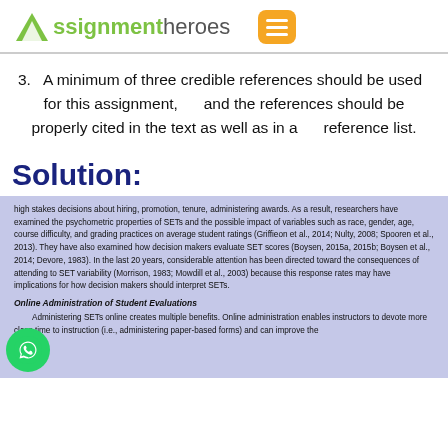Assignment heroes
3. A minimum of three credible references should be used for this assignment, and the references should be properly cited in the text as well as in a reference list.
Solution:
high stakes decisions about hiring, promotion, tenure, administering awards. As a result, researchers have examined the psychometric properties of SETs and the possible impact of variables such as race, gender, age, course difficulty, and grading practices on average student ratings (Griffieon et al., 2014; Nulty, 2008; Spooren et al., 2013). They have also examined how decision makers evaluate SET scores (Boysen, 2015a, 2015b; Boysen et al., 2014; Devore, 1983). In the last 20 years, considerable attention has been directed toward the consequences of attending to SET variability (Morrison, 1983; Mowdill et al., 2003) because this response rates may have implications for how decision makers should interpret SETs.
Online Administration of Student Evaluations
Administering SETs online creates multiple benefits. Online administration enables instructors to devote more class time to instruction (i.e., administering paper-based forms) and can improve the